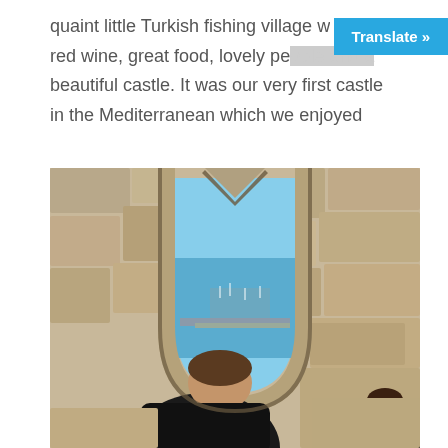quaint little Turkish fishing village w... local red wine, great food, lovely people and a beautiful castle. It was our very first castle in the Mediterranean which we enjoyed
[Figure (photo): A person in a black shirt viewed from behind, looking through a stone arched doorway (Gothic/Moorish style arch) in a medieval castle wall, with a view of a Mediterranean harbor with sailboats and blue sea beyond.]